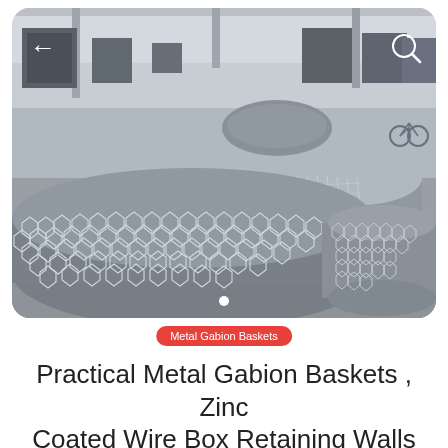[Figure (photo): Industrial warehouse interior showing large rolls of silver hexagonal wire mesh gabion baskets stacked on a concrete floor. The wire mesh has a diamond/honeycomb pattern. The warehouse has steel columns and natural lighting from above. A bicycle is visible in the background on the right side. Navigation arrow (←) is in the upper left and a search icon (magnifying glass) is in the upper right overlay.]
Metal Gabion Baskets
Practical Metal Gabion Baskets , Zinc Coated Wire Box Retaining Walls